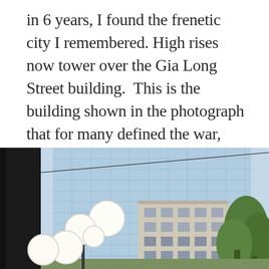in 6 years, I found the frenetic city I remembered. High rises now tower over the Gia Long Street building.  This is the building shown in the photograph that for many defined the war, where one of the last American helicopters left from the rooftop as Saigon fell.
[Figure (photo): Street-level photo showing a large modern glass high-rise building towering over an older white building. In the foreground on the left are white globe street lamps and a dark pillar/post. Green trees are visible on the right side. A wire crosses diagonally across the upper portion of the image.]